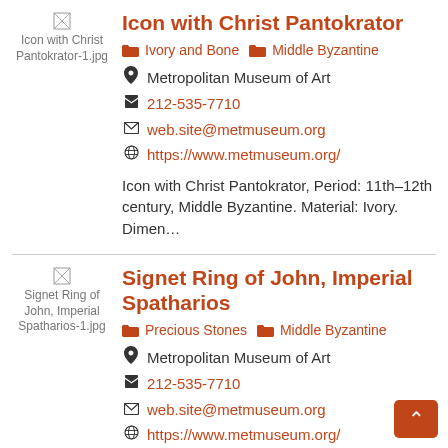[Figure (other): Thumbnail image placeholder for Icon with Christ Pantokrator-1.jpg]
Icon with Christ Pantokrator
Ivory and Bone   Middle Byzantine
Metropolitan Museum of Art
212-535-7710
web.site@metmuseum.org
https://www.metmuseum.org/
Icon with Christ Pantokrator, Period: 11th–12th century, Middle Byzantine. Material: Ivory. Dimen…
[Figure (other): Thumbnail image placeholder for Signet Ring of John, Imperial Spatharios-1.jpg]
Signet Ring of John, Imperial Spatharios
Precious Stones   Middle Byzantine
Metropolitan Museum of Art
212-535-7710
web.site@metmuseum.org
https://www.metmuseum.org/